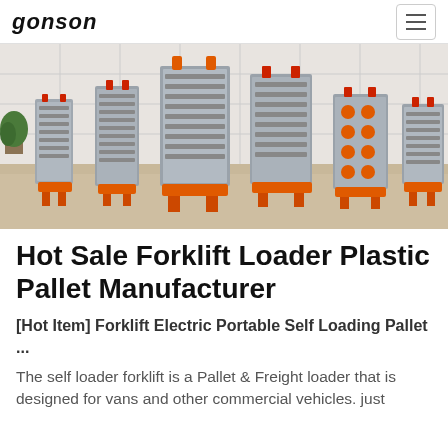GONSON
[Figure (photo): Industrial plastic pallet molds displayed in a factory setting. Multiple large metal injection molds with orange bases and frames arranged in a row on a light-colored floor against white tile walls.]
Hot Sale Forklift Loader Plastic Pallet Manufacturer
[Hot Item] Forklift Electric Portable Self Loading Pallet ...
The self loader forklift is a Pallet & Freight loader that is designed for vans and other commercial vehicles. just